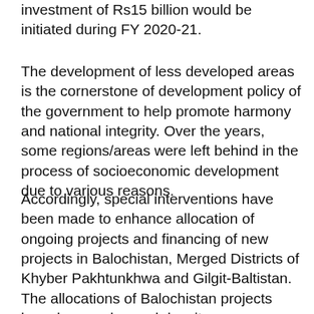investment of Rs15 billion would be initiated during FY 2020-21.
The development of less developed areas is the cornerstone of development policy of the government to help promote harmony and national integrity. Over the years, some regions/areas were left behind in the process of socioeconomic development due to various reasons.
Accordingly, special interventions have been made to enhance allocation of ongoing projects and financing of new projects in Balochistan, Merged Districts of Khyber Pakhtunkhwa and Gilgit-Baltistan. The allocations of Balochistan projects have been enhanced despite resource crunch from